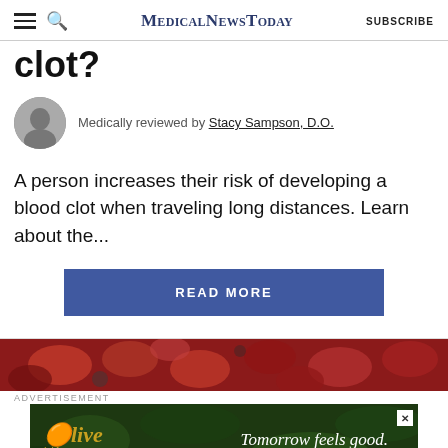MedicalNewsToday SUBSCRIBE
clot?
Medically reviewed by Stacy Sampson, D.O.
A person increases their risk of developing a blood clot when traveling long distances. Learn about the...
READ MORE
[Figure (photo): Red blood cells close-up medical photo used as advertisement background]
ADVERTISEMENT
[Figure (photo): Olive Life advertisement banner with green leafy background and tagline Tomorrow feels good.]